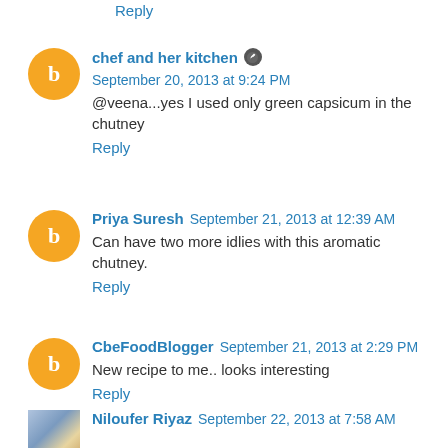Reply
chef and her kitchen  September 20, 2013 at 9:24 PM
@veena...yes I used only green capsicum in the chutney
Reply
Priya Suresh  September 21, 2013 at 12:39 AM
Can have two more idlies with this aromatic chutney.
Reply
CbeFoodBlogger  September 21, 2013 at 2:29 PM
New recipe to me.. looks interesting
Reply
Niloufer Riyaz  September 22, 2013 at 7:58 AM